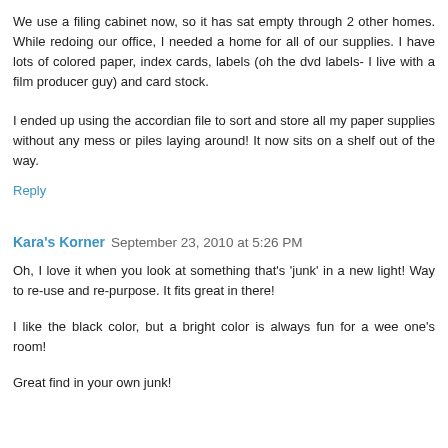We use a filing cabinet now, so it has sat empty through 2 other homes. While redoing our office, I needed a home for all of our supplies. I have lots of colored paper, index cards, labels (oh the dvd labels- I live with a film producer guy) and card stock.
I ended up using the accordian file to sort and store all my paper supplies without any mess or piles laying around! It now sits on a shelf out of the way.
Reply
Kara's Korner  September 23, 2010 at 5:26 PM
Oh, I love it when you look at something that's 'junk' in a new light! Way to re-use and re-purpose. It fits great in there!
I like the black color, but a bright color is always fun for a wee one's room!
Great find in your own junk!